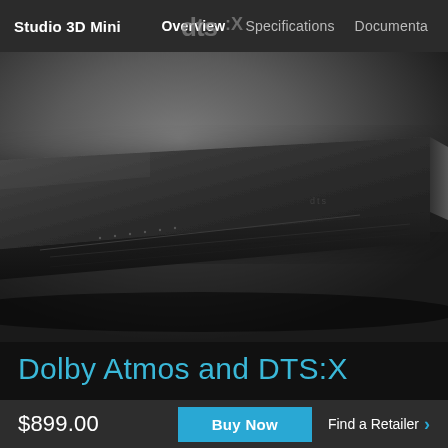Studio 3D Mini   Overview   Specifications   Documentation
[Figure (photo): Close-up photo of a sleek black DTS-X Studio 3D Mini soundbar/audio device on a dark gray surface, viewed from an angle showing the top and front edge of the device.]
Dolby Atmos and DTS-X
$899.00
Buy Now
Find a Retailer